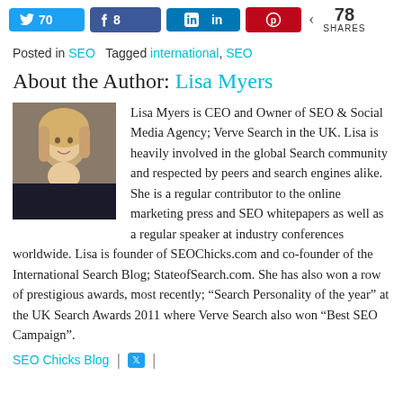[Figure (infographic): Social sharing buttons row: Twitter 70, Facebook 8, LinkedIn (no count), Pinterest (no count), and share icon with 78 SHARES count]
Posted in SEO   Tagged international, SEO
About the Author: Lisa Myers
[Figure (photo): Headshot photo of Lisa Myers, a blonde woman]
Lisa Myers is CEO and Owner of SEO & Social Media Agency; Verve Search in the UK. Lisa is heavily involved in the global Search community and respected by peers and search engines alike. She is a regular contributor to the online marketing press and SEO whitepapers as well as a regular speaker at industry conferences worldwide. Lisa is founder of SEOChicks.com and co-founder of the International Search Blog; StateofSearch.com. She has also won a row of prestigious awards, most recently; “Search Personality of the year” at the UK Search Awards 2011 where Verve Search also won “Best SEO Campaign”.
SEO Chicks Blog | [twitter icon] |